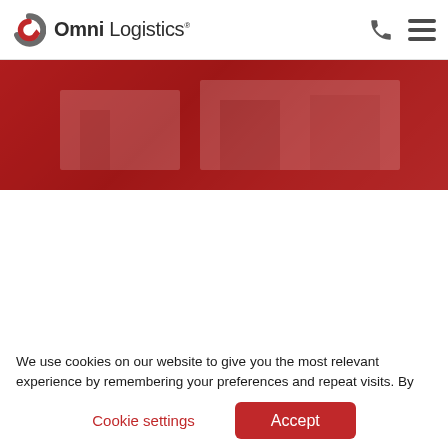[Figure (logo): Omni Logistics logo with circular red and grey arrow icon and the text 'Omni Logistics']
[Figure (photo): Red-tinted hero banner photo of a warehouse or logistics setting]
We use cookies on our website to give you the most relevant experience by remembering your preferences and repeat visits. By clicking "Accept", you consent to the use of ALL the cookies. Do not sell my personal information
Cookie settings
Accept